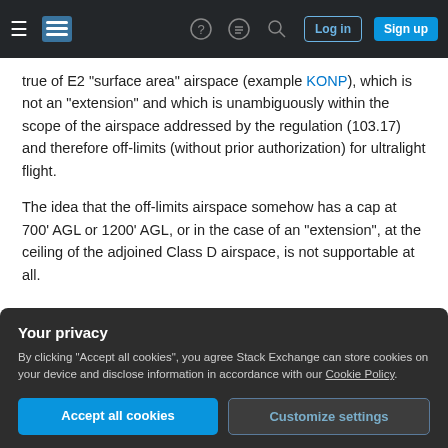Stack Exchange navigation bar with hamburger menu, logo, help, chat, search, Log in, Sign up buttons
true of E2 "surface area" airspace (example KONP), which is not an "extension" and which is unambiguously within the scope of the airspace addressed by the regulation (103.17) and therefore off-limits (without prior authorization) for ultralight flight.
The idea that the off-limits airspace somehow has a cap at 700' AGL or 1200' AGL, or in the case of an "extension", at the ceiling of the adjoined Class D airspace, is not supportable at all.
Your privacy
By clicking "Accept all cookies", you agree Stack Exchange can store cookies on your device and disclose information in accordance with our Cookie Policy.
Accept all cookies   Customize settings
Class E "extensions" - Ambiguity around this issue has pointed some reviewers the ADS-L to believe it is...